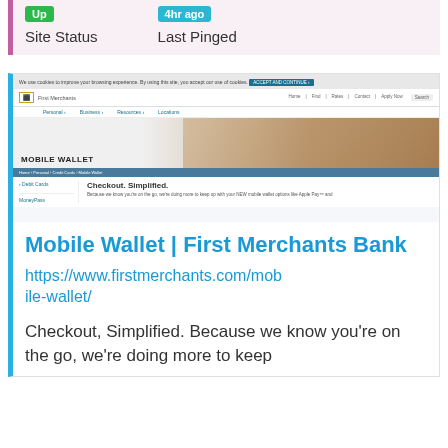Up  Site Status
4hr ago  Last Pinged
[Figure (screenshot): Screenshot of First Merchants Bank Mobile Wallet webpage showing cookie bar, navigation, hero image with person using mobile payment, and page content 'Checkout. Simplified.']
Mobile Wallet | First Merchants Bank
https://www.firstmerchants.com/mobile-wallet/
Checkout, Simplified. Because we know you're on the go, we're doing more to keep